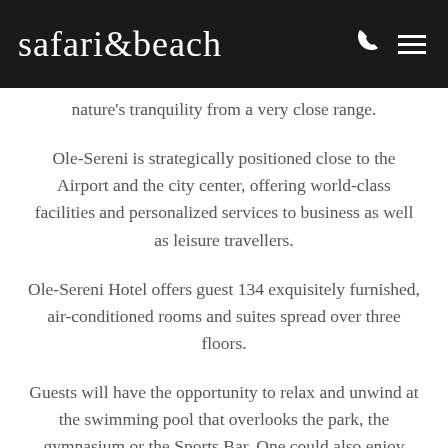safari&beach
nature's tranquility from a very close range.
Ole-Sereni is strategically positioned close to the Airport and the city center, offering world-class facilities and personalized services to business as well as leisure travellers.
Ole-Sereni Hotel offers guest 134 exquisitely furnished, air-conditioned rooms and suites spread over three floors.
Guests will have the opportunity to relax and unwind at the swimming pool that overlooks the park, the gymnasium or the Sports Bar. One could also enjoy special therapies and treatments at the massage